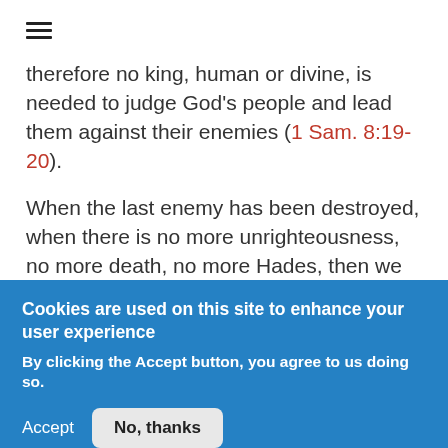[Figure (other): Hamburger menu icon (three horizontal bars)]
therefore no king, human or divine, is needed to judge God's people and lead them against their enemies (1 Sam. 8:19-20).
When the last enemy has been destroyed, when there is no more unrighteousness, no more death, no more Hades, then we will not need a king, human or divine, to rule over us. Much as I think the war against Rome is critical for understanding large sections of New Testament eschatology, it certainly didn't fulfil these fundamental criteria for
Cookies are used on this site to enhance your user experience
By clicking the Accept button, you agree to us doing so.
Accept
No, thanks